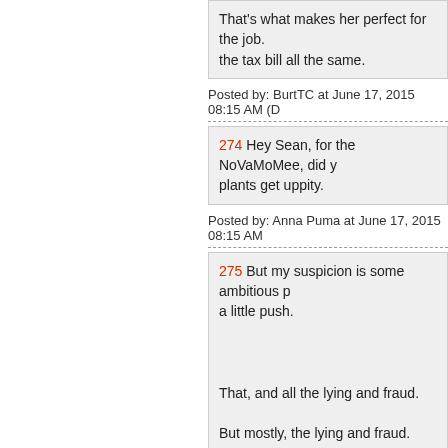That's what makes her perfect for the job. the tax bill all the same.
Posted by: BurtTC at June 17, 2015 08:15 AM (D
274 Hey Sean, for the NoVaMoMee, did y plants get uppity.
Posted by: Anna Puma at June 17, 2015 08:15 AM
275 But my suspicion is some ambitious p a little push.

That, and all the lying and fraud.

But mostly, the lying and fraud.
Posted by: rickb223 at June 17, 2015 08:16 AM (
276 If a celebrity speaks at a charity, woul the charity? I'm stunned-I'd think Hill would do it free